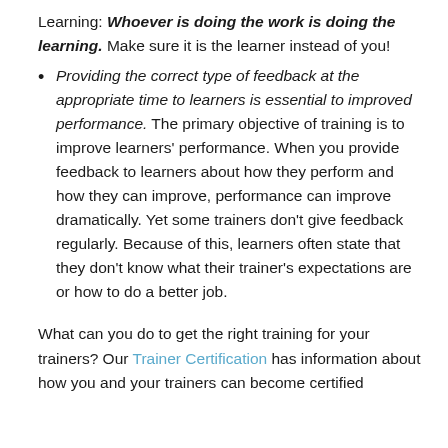Learning: Whoever is doing the work is doing the learning. Make sure it is the learner instead of you!
Providing the correct type of feedback at the appropriate time to learners is essential to improved performance. The primary objective of training is to improve learners' performance. When you provide feedback to learners about how they perform and how they can improve, performance can improve dramatically. Yet some trainers don't give feedback regularly. Because of this, learners often state that they don't know what their trainer's expectations are or how to do a better job.
What can you do to get the right training for your trainers? Our Trainer Certification has information about how you and your trainers can become certified